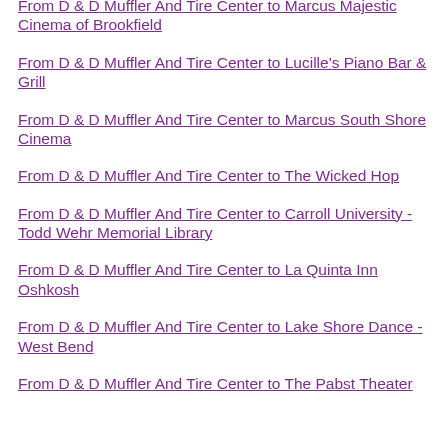From D & D Muffler And Tire Center to Marcus Majestic Cinema of Brookfield
From D & D Muffler And Tire Center to Lucille's Piano Bar & Grill
From D & D Muffler And Tire Center to Marcus South Shore Cinema
From D & D Muffler And Tire Center to The Wicked Hop
From D & D Muffler And Tire Center to Carroll University - Todd Wehr Memorial Library
From D & D Muffler And Tire Center to La Quinta Inn Oshkosh
From D & D Muffler And Tire Center to Lake Shore Dance - West Bend
From D & D Muffler And Tire Center to The Pabst Theater